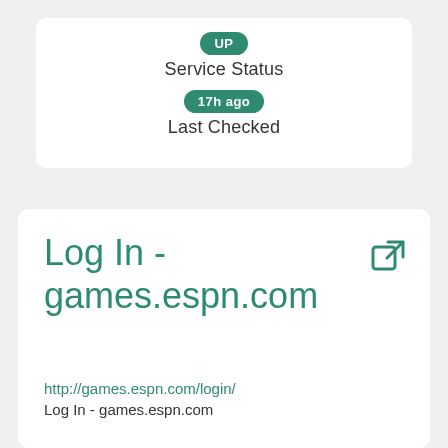[Figure (screenshot): Service status card showing UP badge and Last Checked 17h ago]
UP
Service Status
17h ago
Last Checked
Log In - games.espn.com
http://games.espn.com/login/
Log In - games.espn.com